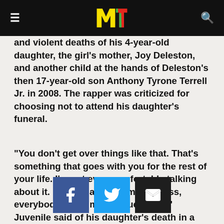MTV
and violent deaths of his 4-year-old daughter, the girl's mother, Joy Deleston, and another child at the hands of Deleston's then 17-year-old son Anthony Tyrone Terrell Jr. in 2008. The rapper was criticized for choosing not to attend his daughter's funeral.
"You don't get over things like that. That's something that goes with you for the rest of your life. I'm not even comfortable talking about it. I stayed away from the press, everybody had a million questions," Juvenile said of his daughter's death in a 2009 interview. "I'm not even comfortable talking about it."
[Figure (infographic): Social share buttons: Facebook (blue), Twitter (light blue), Email (dark/black)]